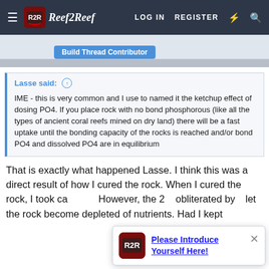Reef2Reef — LOG IN  REGISTER
Build Thread Contributor
Lasse said: ↑
IME - this is very common and I use to named it the ketchup effect of dosing PO4. If you place rock with no bond phosphorous (like all the types of ancient coral reefs mined on dry land) there will be a fast uptake until the bonding capacity of the rocks is reached and/or bond PO4 and dissolved PO4 are in equilibrium
That is exactly what happened Lasse. I think this was a direct result of how I cured the rock. When I cured the rock, I took ca... However, the 2... obliterated by... let the rock become depleted of nutrients. Had I kept
Please Introduce Yourself Here!